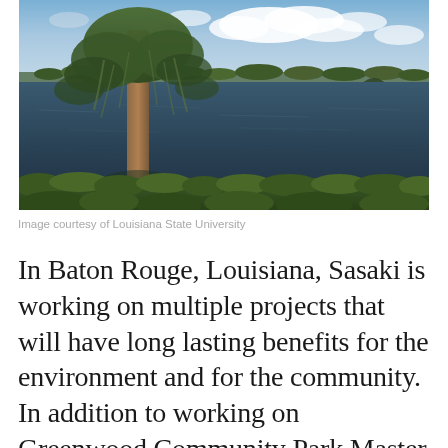[Figure (photo): Landscape photograph of a bayou or lake in Louisiana showing cypress trees draped with Spanish moss in the foreground and calm water with tree-lined horizon and partly cloudy blue sky in the background.]
Image courtesy of Louisiana State University
In Baton Rouge, Louisiana, Sasaki is working on multiple projects that will have long lasting benefits for the environment and for the community. In addition to working on Greenwood Community Park Master Plan and